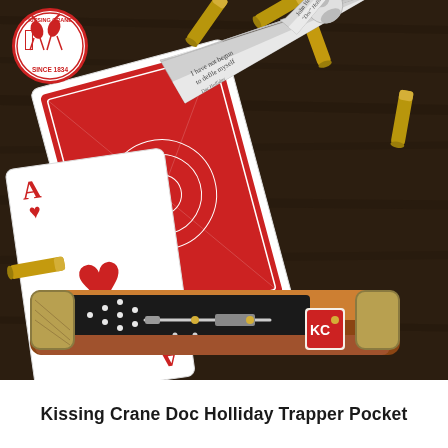[Figure (photo): A Kissing Crane Doc Holliday Trapper Pocket knife photographed on a dark wooden surface with playing cards (Ace of Hearts visible), scattered brass bullet casings, and the knife open showing two blades engraved with 'I have not begun to defile myself - Doc Holliday' and 'John Henry Doc Holliday' with a portrait. The knife handle features amber bone scales with black inlay depicting a shotgun and the Kissing Crane logo. The Kissing Crane logo (two cranes, red circle, 'Since 1834') appears in the upper left corner.]
Kissing Crane Doc Holliday Trapper Pocket